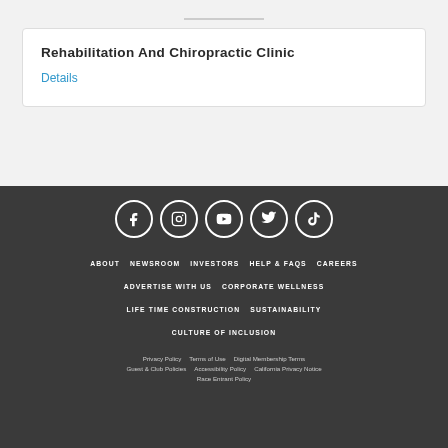Rehabilitation And Chiropractic Clinic
Details
[Figure (other): Social media icons: Facebook, Instagram, YouTube, Twitter, TikTok]
ABOUT
NEWSROOM
INVESTORS
HELP & FAQS
CAREERS
ADVERTISE WITH US
CORPORATE WELLNESS
LIFE TIME CONSTRUCTION
SUSTAINABILITY
CULTURE OF INCLUSION
Privacy Policy   Terms of Use   Digital Membership Terms   Guest & Club Policies   Accessibility Policy   California Privacy Notice   Race Entrant Policy